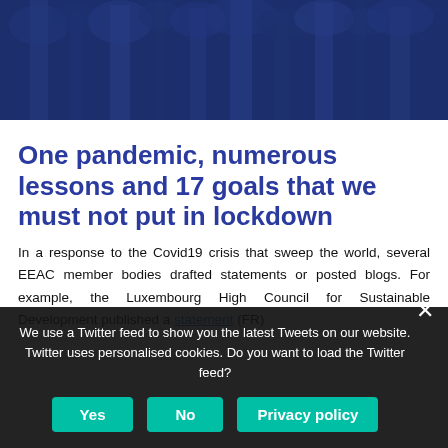[Figure (photo): Blue-tinted hero photograph of birch trees or forest scene]
One pandemic, numerous lessons and 17 goals that we must not put in lockdown
In a response to the Covid19 crisis that sweep the world, several EEAC member bodies drafted statements or posted blogs. For example, the Luxembourg High Council for Sustainable Development published a statement (FR)
We use a Twitter feed to show you the latest Tweets on our website. Twitter uses personalised cookies. Do you want to load the Twitter feed?